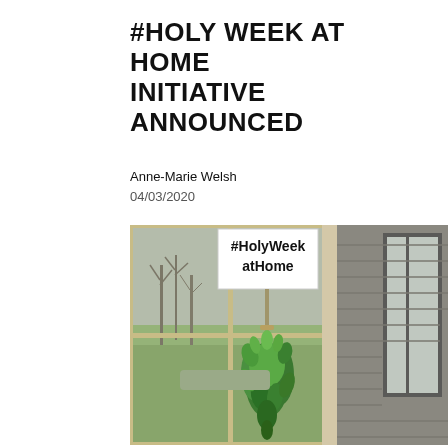#HOLY WEEK AT HOME INITIATIVE ANNOUNCED
Anne-Marie Welsh
04/03/2020
[Figure (photo): A photograph of a front door or window area of a house, with a handwritten sign reading '#HolyWeek atHome' on a stake, and a green wreath or garland of palm/boxwood branches hanging below the sign. The background shows windows, a gray/tan siding exterior, and a view through the glass of a green lawn and bare winter trees.]